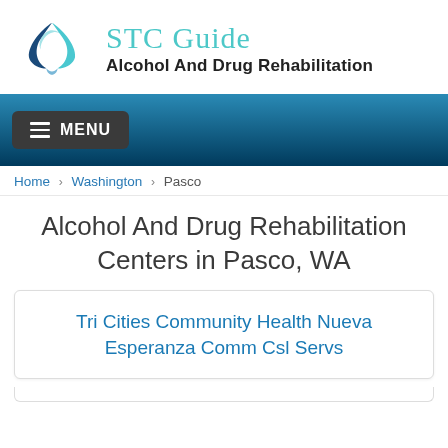[Figure (logo): STC Guide logo with teal/blue triangular swoosh graphic and text 'STC Guide - Alcohol And Drug Rehabilitation']
[Figure (screenshot): Navigation bar with blue gradient background and MENU button]
Home › Washington › Pasco
Alcohol And Drug Rehabilitation Centers in Pasco, WA
Tri Cities Community Health Nueva Esperanza Comm Csl Servs